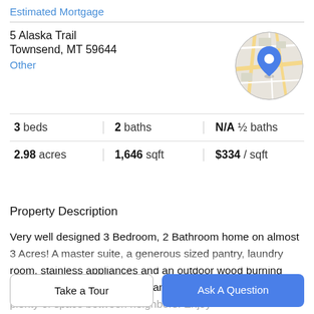Estimated Mortgage
5 Alaska Trail
Townsend, MT 59644
Other
[Figure (map): Circular map thumbnail showing a street map with a blue location pin marker in the center]
3 beds   2 baths   N/A ½ baths
2.98 acres   1,646 sqft   $334 / sqft
Property Description
Very well designed 3 Bedroom, 2 Bathroom home on almost 3 Acres! A master suite, a generous sized pantry, laundry room, stainless appliances and an outdoor wood burning boiler to cut down on the propane bills. Quiet subdivision with plenty of space between neighbors. Enjoy
Take a Tour
Ask A Question